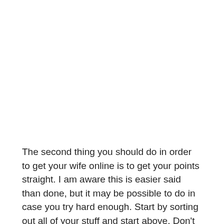The second thing you should do in order to get your wife online is to get your points straight. I am aware this is easier said than done, but it may be possible to do in case you try hard enough. Start by sorting out all of your stuff and start above. Don't take this as a poor idea because most men who spend a lot of time with their wives will find that they are very busy sometimes and that